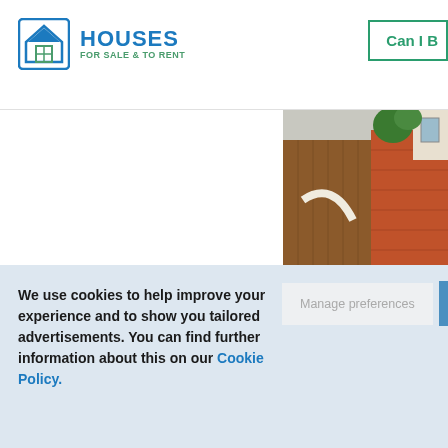[Figure (logo): Houses For Sale & To Rent logo with house icon in blue and green]
Can I B
[Figure (photo): Exterior property photo showing red brick wall, wooden fence, and house facade]
We use cookies to help improve your experience and to show you tailored advertisements. You can find further information about this on our Cookie Policy.
Manage preferences
Accept All